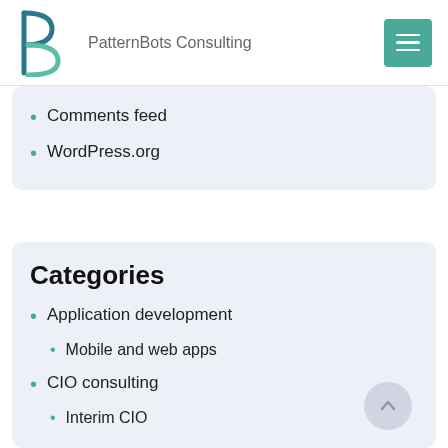PatternBots Consulting
Comments feed
WordPress.org
Categories
Application development
Mobile and web apps
CIO consulting
Interim CIO